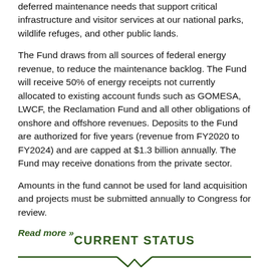deferred maintenance needs that support critical infrastructure and visitor services at our national parks, wildlife refuges, and other public lands.
The Fund draws from all sources of federal energy revenue, to reduce the maintenance backlog. The Fund will receive 50% of energy receipts not currently allocated to existing account funds such as GOMESA, LWCF, the Reclamation Fund and all other obligations of onshore and offshore revenues. Deposits to the Fund are authorized for five years (revenue from FY2020 to FY2024) and are capped at $1.3 billion annually. The Fund may receive donations from the private sector.
Amounts in the fund cannot be used for land acquisition and projects must be submitted annually to Congress for review.
Read more »
CURRENT STATUS